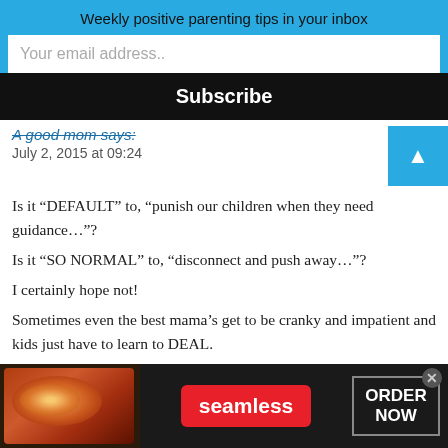Weekly positive parenting tips in your inbox
Your email address..
Subscribe
A good mom says:
July 2, 2015 at 09:24
Is it “DEFAULT” to, “punish our children when they need guidance…”?
Is it “SO NORMAL” to, “disconnect and push away…”?
I certainly hope not!
Sometimes even the best mama’s get to be cranky and impatient and kids just have to learn to DEAL.
What will your response be when your 4 year old is a teenager and mumbles, “idiot” under her breath? Will you blame yourself for overwhelming her and apologize then as well?
[Figure (other): Seamless food delivery advertisement banner with pizza image, red Seamless logo button, and ORDER NOW button]